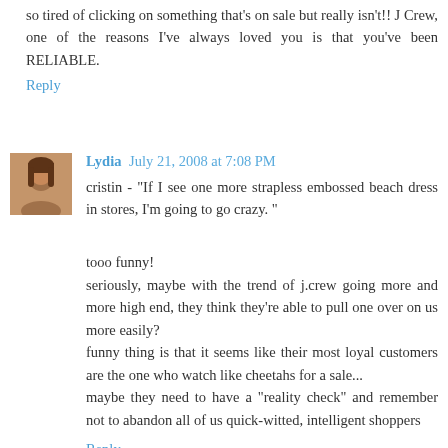so tired of clicking on something that's on sale but really isn't!! J Crew, one of the reasons I've always loved you is that you've been RELIABLE.
Reply
Lydia  July 21, 2008 at 7:08 PM
cristin - "If I see one more strapless embossed beach dress in stores, I'm going to go crazy. "

tooo funny!
seriously, maybe with the trend of j.crew going more and more high end, they think they're able to pull one over on us more easily?
funny thing is that it seems like their most loyal customers are the one who watch like cheetahs for a sale...
maybe they need to have a "reality check" and remember not to abandon all of us quick-witted, intelligent shoppers
Reply